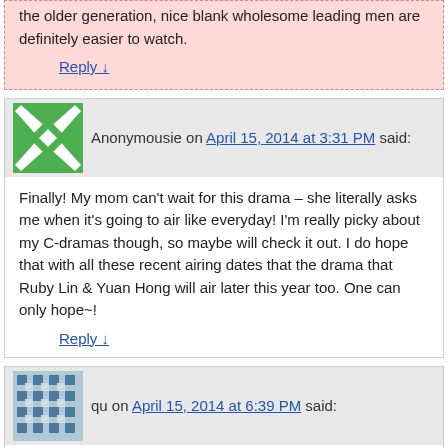the older generation, nice blank wholesome leading men are definitely easier to watch.
Reply ↓
Anonymousie on April 15, 2014 at 3:31 PM said:
Finally! My mom can't wait for this drama – she literally asks me when it's going to air like everyday! I'm really picky about my C-dramas though, so maybe will check it out. I do hope that with all these recent airing dates that the drama that Ruby Lin & Yuan Hong will air later this year too. One can only hope~!
Reply ↓
qu on April 15, 2014 at 6:39 PM said:
well perrect couple is going to be better than bbjq since tonghua worked on it. =) i hope april 21 comes soon i am really looking forward to perfect couple.